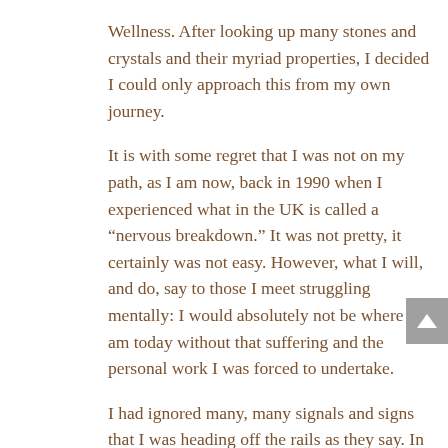Wellness. After looking up many stones and crystals and their myriad properties, I decided I could only approach this from my own journey.
It is with some regret that I was not on my path, as I am now, back in 1990 when I experienced what in the UK is called a “nervous breakdown.” It was not pretty, it certainly was not easy. However, what I will, and do, say to those I meet struggling mentally: I would absolutely not be where I am today without that suffering and the personal work I was forced to undertake.
I had ignored many, many signals and signs that I was heading off the rails as they say. In the words of my much-valued mentor Carolyn A Jones “…the Universe sends you signals, first feathers, then bricks, then a Mac Truck”.
I know we are all exactly where we are meant to be but I wish I’d had some of my beautiful crystal helpers back then, especially Aquamarine. Here is a